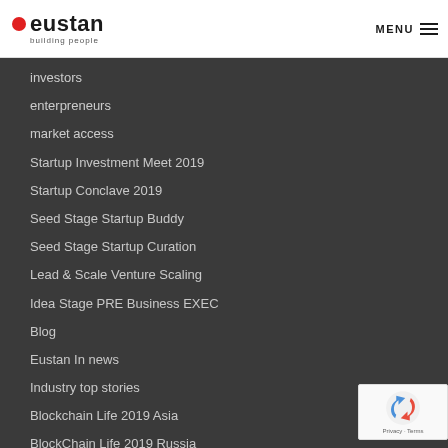eustan building people | MENU
investors
enterpreneurs
market access
Startup Investment Meet 2019
Startup Conclave 2019
Seed Stage Startup Buddy
Seed Stage Startup Curation
Lead & Scale Venture Scaling
Idea Stage PRE Business EXEC
Blog
Eustan In news
Industry top stories
Blockchain Life 2019 Asia
BlockChain Life 2019 Russia